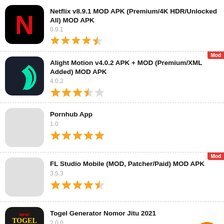Netflix v8.9.1 MOD APK (Premium/4K HDR/Unlocked All) MOD APK
Alight Motion v4.0.2 APK + MOD (Premium/XML Added) MOD APK
Pornhub App
FL Studio Mobile (MOD, Patcher/Paid) MOD APK
Togel Generator Nomor Jitu 2021